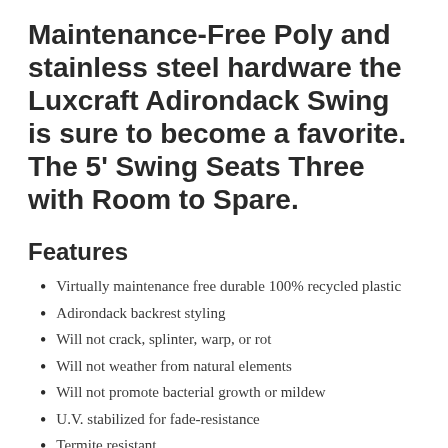Maintenance-Free Poly and stainless steel hardware the Luxcraft Adirondack Swing is sure to become a favorite. The 5' Swing Seats Three with Room to Spare.
Features
Virtually maintenance free durable 100% recycled plastic
Adirondack backrest styling
Will not crack, splinter, warp, or rot
Will not weather from natural elements
Will not promote bacterial growth or mildew
U.V. stabilized for fade-resistance
Termite resistant
Stainless steel hardware for optimum durability. Stainless